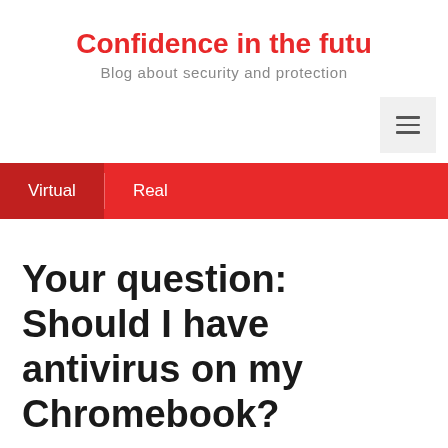Confidence in the futu
Blog about security and protection
Virtual  Real
Your question: Should I have antivirus on my Chromebook?